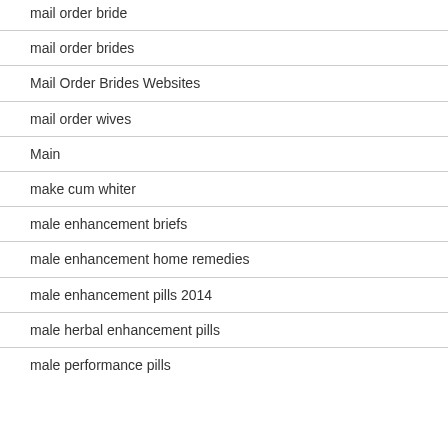mail order bride
mail order brides
Mail Order Brides Websites
mail order wives
Main
make cum whiter
male enhancement briefs
male enhancement home remedies
male enhancement pills 2014
male herbal enhancement pills
male performance pills